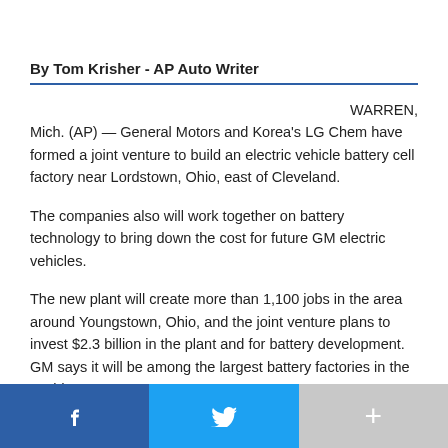By Tom Krisher - AP Auto Writer
WARREN, Mich. (AP) — General Motors and Korea's LG Chem have formed a joint venture to build an electric vehicle battery cell factory near Lordstown, Ohio, east of Cleveland.
The companies also will work together on battery technology to bring down the cost for future GM electric vehicles.
The new plant will create more than 1,100 jobs in the area around Youngstown, Ohio, and the joint venture plans to invest $2.3 billion in the plant and for battery development. GM says it will be among the largest battery factories in the world.
They'll break ground on the new plant sometime next year.
f  [Twitter bird]  +